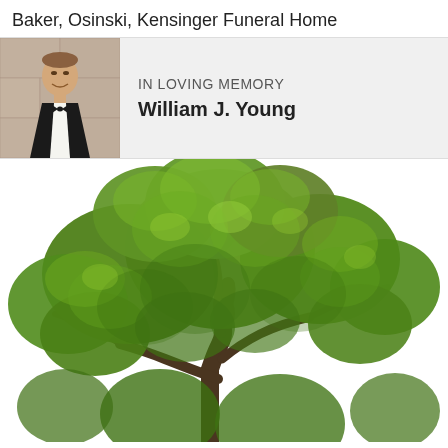Baker, Osinski, Kensinger Funeral Home
IN LOVING MEMORY
William J. Young
[Figure (photo): Large green deciduous tree with full canopy on white background, with a small portrait photo of William J. Young (man in tuxedo) in the upper-left of the banner area]